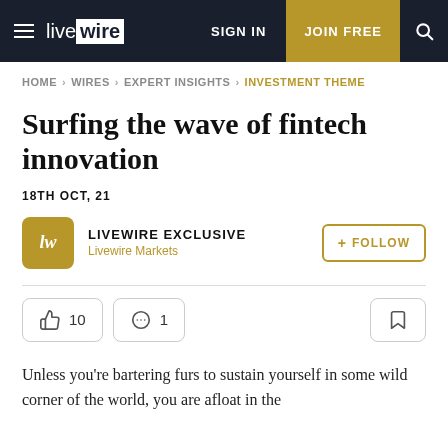livewire | SIGN IN | JOIN FREE
HOME › WIRES › EXPERT INSIGHTS › INVESTMENT THEME
Surfing the wave of fintech innovation
18TH OCT, 21
LIVEWIRE EXCLUSIVE
Livewire Markets
👍 10   💬 1   🔖
Unless you're bartering furs to sustain yourself in some wild corner of the world, you are afloat in the